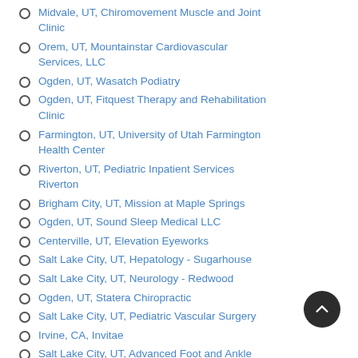Infectious Disease
Midvale, UT, Chiromovement Muscle and Joint Clinic
Orem, UT, Mountainstar Cardiovascular Services, LLC
Ogden, UT, Wasatch Podiatry
Ogden, UT, Fitquest Therapy and Rehabilitation Clinic
Farmington, UT, University of Utah Farmington Health Center
Riverton, UT, Pediatric Inpatient Services Riverton
Brigham City, UT, Mission at Maple Springs
Ogden, UT, Sound Sleep Medical LLC
Centerville, UT, Elevation Eyeworks
Salt Lake City, UT, Hepatology - Sugarhouse
Salt Lake City, UT, Neurology - Redwood
Ogden, UT, Statera Chiropractic
Salt Lake City, UT, Pediatric Vascular Surgery
Irvine, CA, Invitae
Salt Lake City, UT, Advanced Foot and Ankle